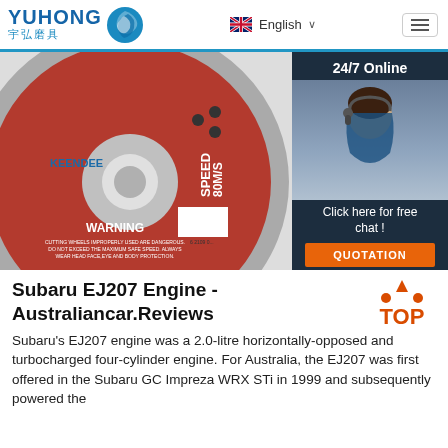YUHONG 宇弘磨具 | English | Navigation menu
[Figure (photo): Red and silver cutting/grinding wheel (KEENDEE brand, SPEED 80M/S) with WARNING label and barcode. Overlaid with a dark panel showing '24/7 Online', a customer service representative with headset, 'Click here for free chat!' text, and an orange QUOTATION button.]
Subaru EJ207 Engine - Australiancar.Reviews
Subaru's EJ207 engine was a 2.0-litre horizontally-opposed and turbocharged four-cylinder engine. For Australia, the EJ207 was first offered in the Subaru GC Impreza WRX STi in 1999 and subsequently powered the